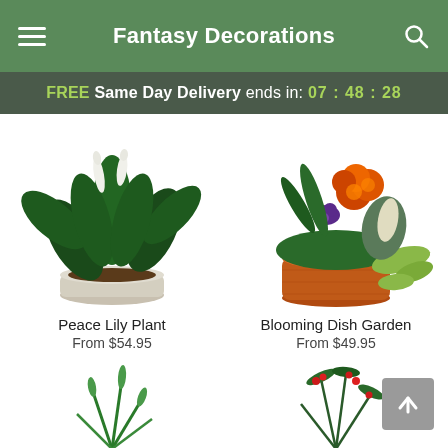Fantasy Decorations
FREE Same Day Delivery ends in: 07 : 48 : 28
[Figure (photo): Peace Lily Plant in a white woven pot with large dark green leaves and white blooms]
Peace Lily Plant
From $54.95
[Figure (photo): Blooming Dish Garden with orange and purple flowers in an orange clay pot with trailing greenery]
Blooming Dish Garden
From $49.95
[Figure (photo): Partial view of a green plant arrangement at bottom left]
[Figure (photo): Partial view of a holiday plant arrangement with red berries and pine at bottom right]